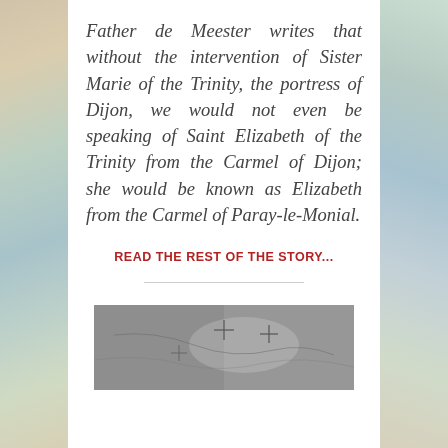Father de Meester writes that without the intervention of Sister Marie of the Trinity, the portress of Dijon, we would not even be speaking of Saint Elizabeth of the Trinity from the Carmel of Dijon; she would be known as Elizabeth from the Carmel of Paray-le-Monial.
READ THE REST OF THE STORY...
[Figure (photo): Black and white photograph, partially visible at the bottom of the page, showing a textured stone or ground surface with faint cross markings.]